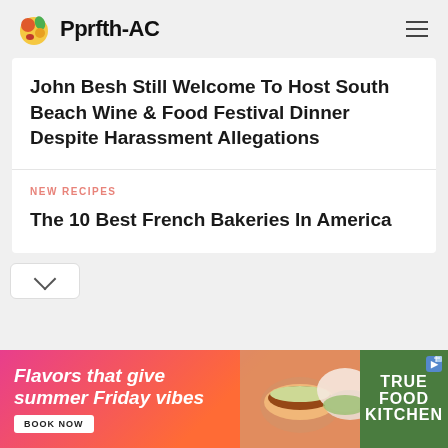Pprfth-AC
John Besh Still Welcome To Host South Beach Wine & Food Festival Dinner Despite Harassment Allegations
NEW RECIPES
The 10 Best French Bakeries In America
[Figure (infographic): Advertisement banner: 'Flavors that give summer Friday vibes' with BOOK NOW button, food photography showing burger and salads, True Food Kitchen branding on green background]